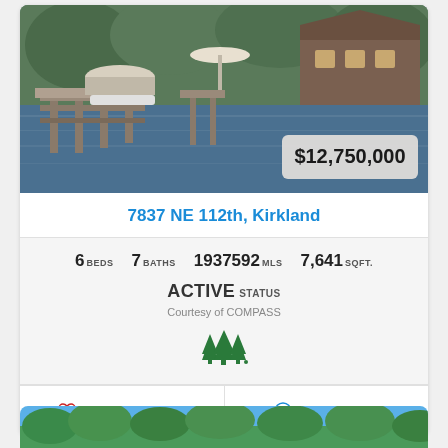[Figure (photo): Lakefront property with dock, boat, and waterfront view of 7837 NE 112th Kirkland]
$12,750,000
7837 NE 112th, Kirkland
6 BEDS   7 BATHS   1937592 MLS   7,641 SQFT.
ACTIVE STATUS
Courtesy of COMPASS
[Figure (logo): Green tree logo (Windermere or similar realty brand)]
Add to Favorites
Request Info
[Figure (photo): Second property photo showing trees against blue sky]